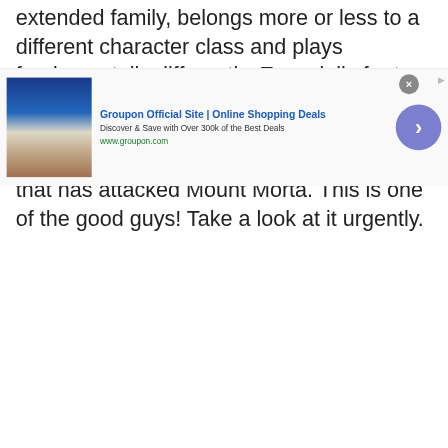extended family, belongs more or less to a different character class and plays fundamentally differently. Especially for two, it is therefore fun to use these characters and their interesting and entertaining fighting skills to shed light on the corruption that has attacked Mount Morta. This is one of the good guys! Take a look at it urgently.
Do you find it interesting? Then you can find more nice articles about Children of Morta
[Figure (screenshot): Groupon advertisement banner with logo image on the left, ad title 'Groupon Official Site | Online Shopping Deals', subtitle 'Discover & Save with Over 300k of the Best Deals', URL 'www.groupon.com', close button (X), and a purple arrow button on the right.]